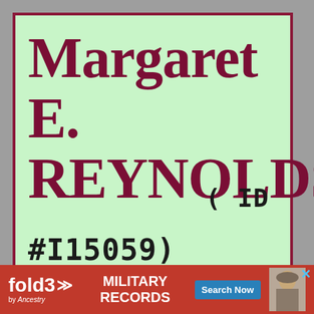Margaret E. REYNOLDS (ID #I15059)
[Figure (screenshot): fold3 by Ancestry military records advertisement banner with Search Now button and soldier photo]